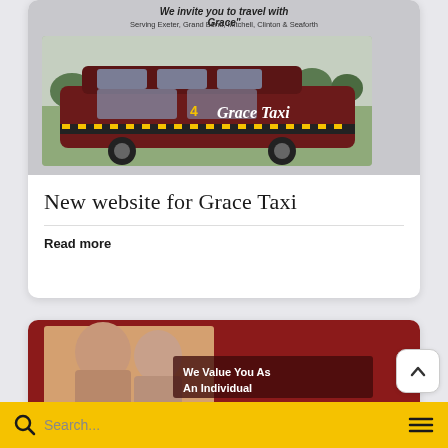[Figure (photo): Grace Taxi vehicle — a dark red/maroon minivan with 'Grace Taxi' branding and yellow checkered stripe on the side, with the number 4, parked outdoors on grass. Above the car image is partial text 'We invite you to travel with Grace"' and subtext 'Serving Exeter, Grand Bend, Mitchell, Clinton & Seaforth'.]
New website for Grace Taxi
Read more
[Figure (photo): Partial image showing two people (faces visible) on a dark red background with text 'We Value You As An Individual']
Search...